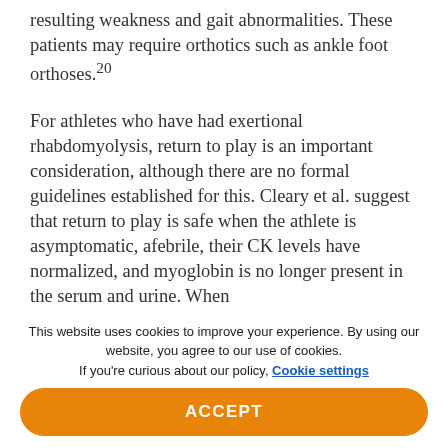resulting weakness and gait abnormalities. These patients may require orthotics such as ankle foot orthoses.20
For athletes who have had exertional rhabdomyolysis, return to play is an important consideration, although there are no formal guidelines established for this. Cleary et al. suggest that return to play is safe when the athlete is asymptomatic, afebrile, their CK levels have normalized, and myoglobin is no longer present in the serum and urine. When
This website uses cookies to improve your experience. By using our website, you agree to our use of cookies. If you're curious about our policy, Cookie settings
ACCEPT